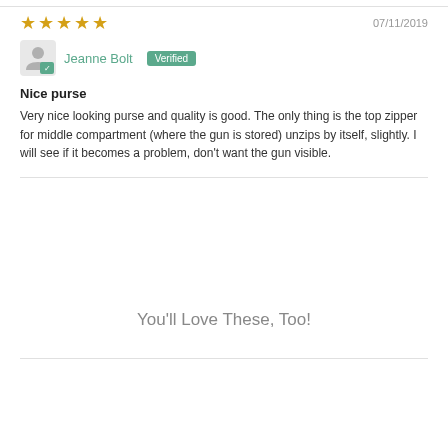★★★★★  07/11/2019
Jeanne Bolt  Verified
Nice purse
Very nice looking purse and quality is good. The only thing is the top zipper for middle compartment (where the gun is stored) unzips by itself, slightly. I will see if it becomes a problem, don't want the gun visible.
You'll Love These, Too!